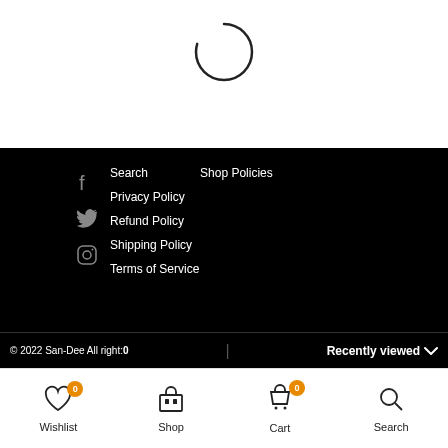[Figure (other): Loading spinner - partial circle arc in dark gray]
Search
Shop Policies
Privacy Policy
Refund Policy
Shipping Policy
Terms of Service
© 2022 San-Dee All right:0   Recently viewed
Wishlist 0   Shop   Cart 0   Search